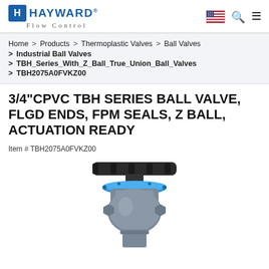[Figure (logo): Hayward Flow Control logo with blue H badge and company name]
Home > Products > Thermoplastic Valves > Ball Valves
> Industrial Ball Valves
> TBH_Series_With_Z_Ball_True_Union_Ball_Valves
> TBH2075A0FVKZ00
3/4"CPVC TBH SERIES BALL VALVE, FLGD ENDS, FPM SEALS, Z BALL, ACTUATION READY
Item # TBH2075A0FVKZ00
[Figure (photo): Product photo of a 3/4 inch CPVC TBH Series Ball Valve with black handle, blue union ring, and gray body]